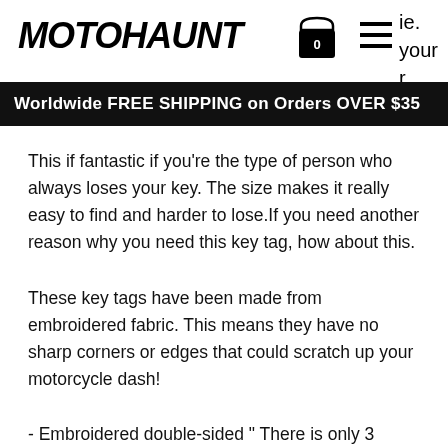MOTOHAUNT
Worldwide FREE SHIPPING on Orders OVER $35
This if fantastic if you're the type of person who always loses your key. The size makes it really easy to find and harder to lose.If you need another reason why you need this key tag, how about this.
These key tags have been made from embroidered fabric. This means they have no sharp corners or edges that could scratch up your motorcycle dash!
- Embroidered double-sided " There is only 3 speeds, fast, faster and oh shit! "